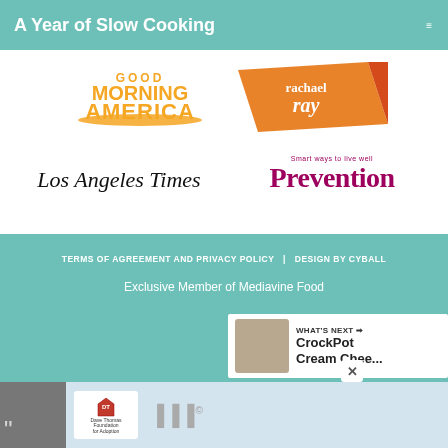A Year of Slow Cooking
[Figure (logo): Good Morning America logo - orange/gold text on white]
[Figure (logo): Rachael Ray show logo - white text on orange background]
[Figure (logo): Los Angeles Times newspaper logo in serif italic]
[Figure (logo): Prevention magazine logo - magenta/purple serif bold text]
[Figure (logo): Real Simple magazine logo - teal and orange bold sans-serif]
[Figure (logo): New York Post logo - white text on black background]
[Figure (logo): Oprah.com logo - gold italic script]
TERMS OF AGREEMENT AND PRIVACY POLICY | DESIGN BY CYBALL
Exclusive Member of Mediavine Food
WHAT'S NEXT → CrockPot Cream Chee...